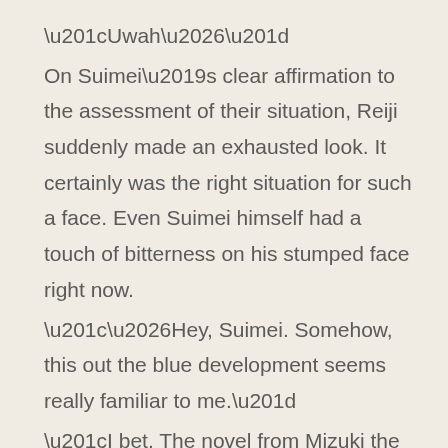“Uwah…”
On Suimei’s clear affirmation to the assessment of their situation, Reiji suddenly made an exhausted look. It certainly was the right situation for such a face. Even Suimei himself had a touch of bitterness on his stumped face right now.
“…Hey, Suimei. Somehow, this out the blue development seems really familiar to me.”
“I bet. The novel from Mizuki the other day had the same stuff.”
“I know, right? It really resembles the plot, where the MC suddenly gets called to another world and is told to defeat the Devil King.”
“Not funny. I can’t laugh at this joke.”